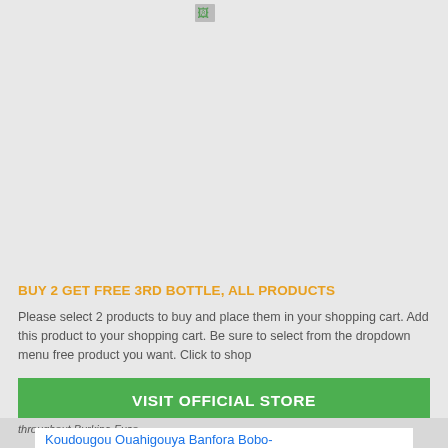[Figure (other): Gray placeholder image panel at the top of the page with a broken image icon]
BUY 2 GET FREE 3RD BOTTLE, ALL PRODUCTS
Please select 2 products to buy and place them in your shopping cart. Add this product to your shopping cart. Be sure to select from the dropdown menu free product you want. Click to shop
VISIT OFFICIAL STORE
throughout Burkina Fuso.
Koudougou Ouahigouya Banfora Bobo-